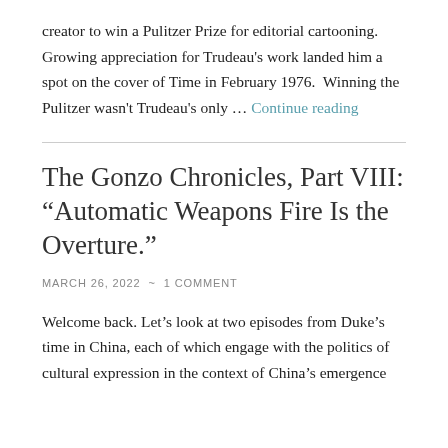creator to win a Pulitzer Prize for editorial cartooning. Growing appreciation for Trudeau's work landed him a spot on the cover of Time in February 1976.  Winning the Pulitzer wasn't Trudeau's only … Continue reading
The Gonzo Chronicles, Part VIII: “Automatic Weapons Fire Is the Overture.”
MARCH 26, 2022 ~ 1 COMMENT
Welcome back. Let’s look at two episodes from Duke’s time in China, each of which engage with the politics of cultural expression in the context of China’s emergence